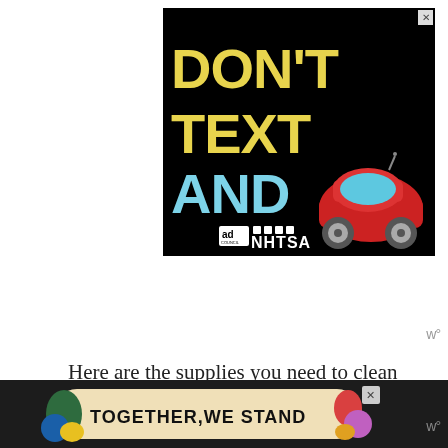[Figure (infographic): NHTSA/Ad Council public service advertisement on black background. Large yellow text 'DON'T TEXT', large cyan text 'AND' followed by red car emoji. Ad Council and NHTSA logos at bottom.]
Here are the supplies you need to clean your cabinets prior to painting:
[Figure (infographic): Ad banner at bottom: 'TOGETHER, WE STAND' text on cream/beige background with colorful blob shapes on sides, on dark background.]